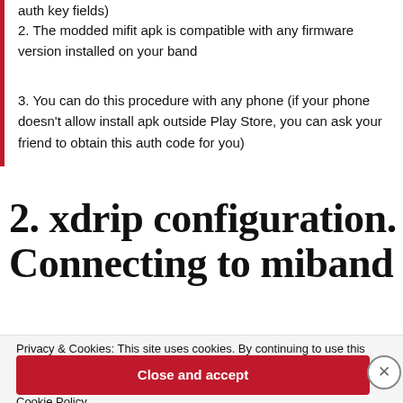auth key fields)
2. The modded mifit apk is compatible with any firmware version installed on your band
3. You can do this procedure with any phone (if your phone doesn't allow install apk outside Play Store, you can ask your friend to obtain this auth code for you)
2. xdrip configuration. Connecting to miband
Privacy & Cookies: This site uses cookies. By continuing to use this website, you agree to their use.
To find out more, including how to control cookies, see here:
Cookie Policy
Close and accept